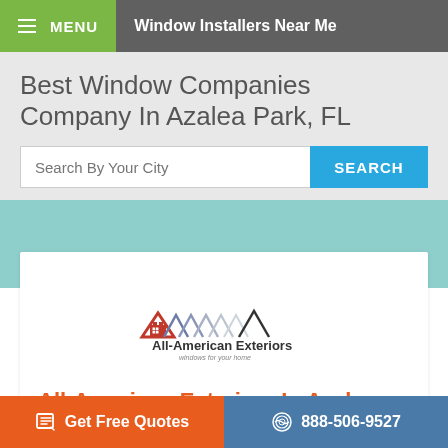MENU | Window Installers Near Me
Best Window Companies Company In Azalea Park, FL
Search By Your City
[Figure (logo): All-American Exteriors logo with house rooftops and company name]
All-American Exteriors In Azalea Park, FL
Get Free Quotes | 888-506-9527